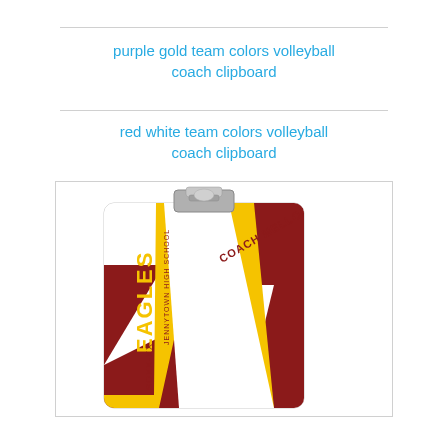purple gold team colors volleyball coach clipboard
red white team colors volleyball coach clipboard
[Figure (photo): A clipboard with red, white, and gold/yellow volleyball-style stripe design. Text on the clipboard reads: 'COACH MELLOR', 'JENNYTOWN HIGH SCHOOL', 'EAGLES', 'SOXX-XX' with a metal clip at the top.]